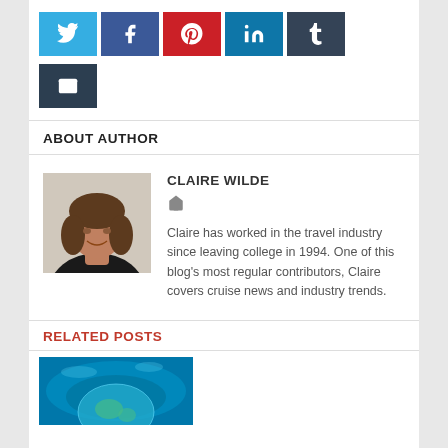[Figure (infographic): Row of social media share buttons: Twitter (light blue), Facebook (dark blue), Pinterest (red), LinkedIn (teal blue), Tumblr (dark grey-blue), Email (dark charcoal)]
ABOUT AUTHOR
[Figure (photo): Headshot photo of Claire Wilde, a woman with brown hair wearing a black top, light background]
CLAIRE WILDE
Claire has worked in the travel industry since leaving college in 1994. One of this blog's most regular contributors, Claire covers cruise news and industry trends.
RELATED POSTS
[Figure (photo): Partial image of an underwater/ocean scene with blue water and a globe or reef visible]